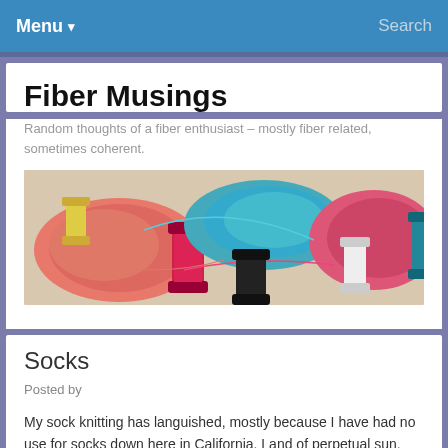Menu ▾   Search
Fiber Musings
Random thoughts of a fiber enthusiast – mostly fiber related, sometimes coherent.
[Figure (photo): Colorful spools and hanks of yarn in pink, red, coral, and teal/turquoise colors arranged on a flat surface]
Socks
Posted by
My sock knitting has languished, mostly because I have had no use for socks down here in California. Land of perpetual sun. But I'm spending the next month up in Washington. Land of perpetual rain. I need socks.
I dug out all my socks in progress, and found 4. This photo only shows 3 because I'm not happy with the 4th and will re-purpose the yarn.